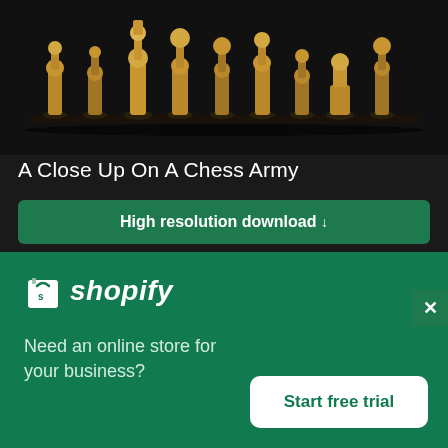[Figure (photo): Close-up photo of multiple metallic bronze/gold chess pieces standing in a row against a dark black background]
A Close Up On A Chess Army
High resolution download ↓
[Figure (photo): Photo of a dark gaming controller (PlayStation DualShock style) against a bright blue background with a white glow behind it]
[Figure (logo): Shopify logo with shopping bag icon]
Need an online store for your business?
Start free trial